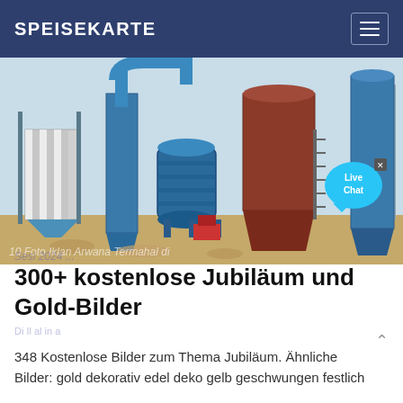SPEISEKARTE
[Figure (photo): Industrial machinery with blue metal structures, silos, pipes, and a large red/brown conical silo in an outdoor construction or mining site setting. A 'Live Chat' bubble appears in the bottom right corner.]
10 Foto Iklan Arwana Termahal di Sesi 2024 ...
300+ kostenlose Jubiläum und Gold-Bilder
348 Kostenlose Bilder zum Thema Jubiläum. Ähnliche Bilder: gold dekorativ edel deko gelb geschwungen festlich